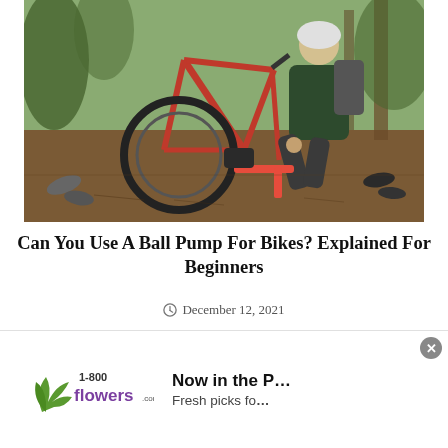[Figure (photo): A mountain biker wearing a helmet and backpack sits on the ground in a forest with pine needles, fixing a bicycle tire. The red bike frame is leaned on its side. Shoes are scattered nearby.]
Can You Use A Ball Pump For Bikes? Explained For Beginners
December 12, 2021
[Figure (photo): Partial view of a second photo (bottom cropped), appears to be an outdoor/nature scene, partially obscured by advertisement banner.]
[Figure (other): Advertisement banner for 1-800-flowers.com. Shows the 1-800-flowers logo on the left and text 'Now in the P...' and 'Fresh picks fo...' on the right. Close button (x) in top-right corner.]